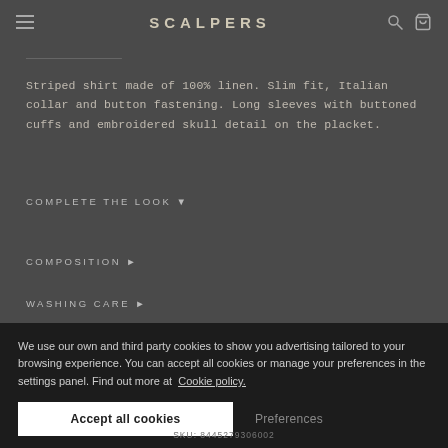SCALPERS
Striped shirt made of 100% linen. Slim fit, Italian collar and button fastening. Long sleeves with buttoned cuffs and embroidered skull detail on the placket.
COMPLETE THE LOOK ▼
COMPOSITION ►
WASHING CARE ►
SHIPPING ►
We use our own and third party cookies to show you advertising tailored to your browsing experience. You can accept all cookies or manage your preferences in the settings panel. Find out more at Cookie policy.
SKU: 8445279306002